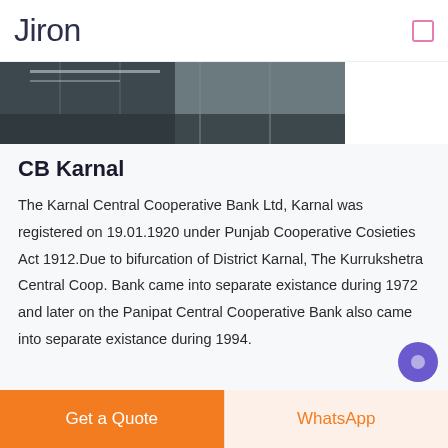Jiron
[Figure (photo): Partial photo of a building/outdoor scene, cropped at top portion]
CB Karnal
The Karnal Central Cooperative Bank Ltd, Karnal was registered on 19.01.1920 under Punjab Cooperative Cosieties Act 1912.Due to bifurcation of District Karnal, The Kurrukshetra Central Coop. Bank came into separate existance during 1972 and later on the Panipat Central Cooperative Bank also came into separate existance during 1994.
Get a Quote   WhatsApp